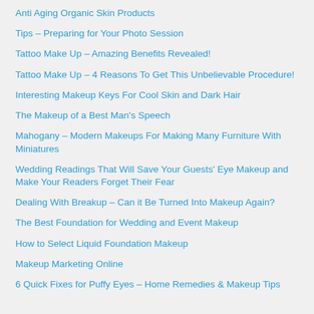Anti Aging Organic Skin Products
Tips – Preparing for Your Photo Session
Tattoo Make Up – Amazing Benefits Revealed!
Tattoo Make Up – 4 Reasons To Get This Unbelievable Procedure!
Interesting Makeup Keys For Cool Skin and Dark Hair
The Makeup of a Best Man's Speech
Mahogany – Modern Makeups For Making Many Furniture With Miniatures
Wedding Readings That Will Save Your Guests' Eye Makeup and Make Your Readers Forget Their Fear
Dealing With Breakup – Can it Be Turned Into Makeup Again?
The Best Foundation for Wedding and Event Makeup
How to Select Liquid Foundation Makeup
Makeup Marketing Online
6 Quick Fixes for Puffy Eyes – Home Remedies & Makeup Tips